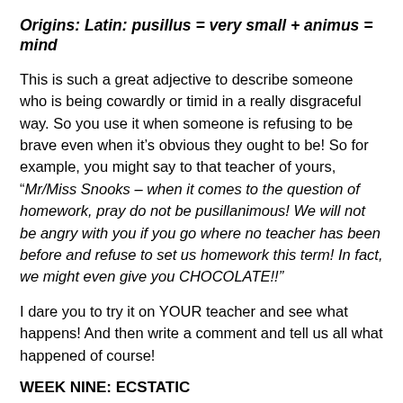Origins: Latin: pusillus = very small + animus = mind
This is such a great adjective to describe someone who is being cowardly or timid in a really disgraceful way. So you use it when someone is refusing to be brave even when it's obvious they ought to be! So for example, you might say to that teacher of yours, “Mr/Miss Snooks – when it comes to the question of homework, pray do not be pusillanimous! We will not be angry with you if you go where no teacher has been before and refuse to set us homework this term! In fact, we might even give you CHOCOLATE!!”
I dare you to try it on YOUR teacher and see what happens! And then write a comment and tell us all what happened of course!
WEEK NINE: ECSTATIC